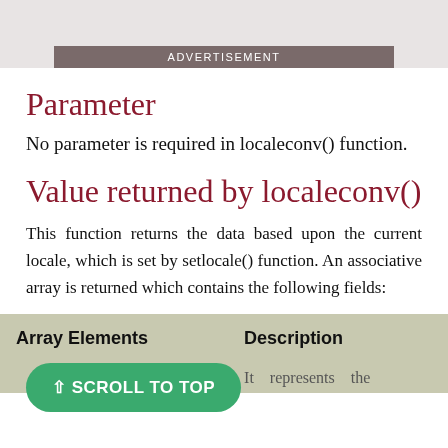[Figure (other): Advertisement banner with gray background and label 'ADVERTISEMENT']
Parameter
No parameter is required in localeconv() function.
Value returned by localeconv()
This function returns the data based upon the current locale, which is set by setlocale() function. An associative array is returned which contains the following fields:
| Array Elements | Description |
| --- | --- |
|  | It   represents   the |
⇧ SCROLL TO TOP